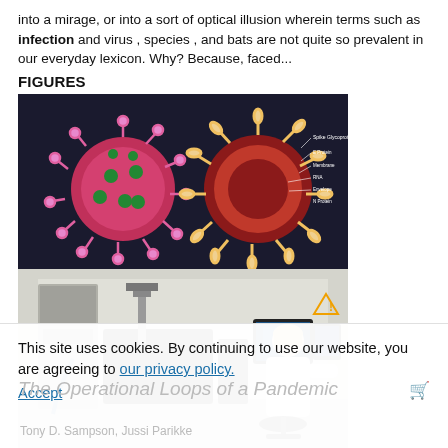into a mirage, or into a sort of optical illusion wherein terms such as infection and virus , species , and bats are not quite so prevalent in our everyday lexicon. Why? Because, faced...
FIGURES
[Figure (photo): Two coronavirus particle illustrations side by side: a pink/purple spiky sphere on the left and a cross-section view in red/yellow on the right, against a dark background with text labels]
[Figure (photo): Lab technician in white coat sitting at a workstation with computer monitors and scientific equipment in a laboratory setting]
View article   PDF
This site uses cookies. By continuing to use our website, you are agreeing to our privacy policy. Accept
The Operational Loops of a Pandemic
Tony D. Sampson, Jussi Parikke